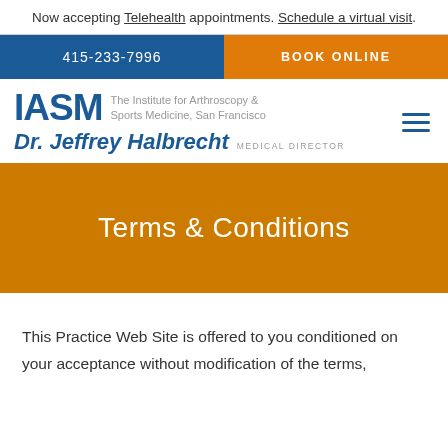Now accepting Telehealth appointments. Schedule a virtual visit.
415-233-7996
BOOK ONLINE
[Figure (logo): IASM logo with text: The Institute for Arthroscopy & Sports Medicine, San Francisco. Dr. Jeffrey Halbrecht, Medical Director]
Terms & Conditions
This Practice Web Site is offered to you conditioned on your acceptance without modification of the terms,